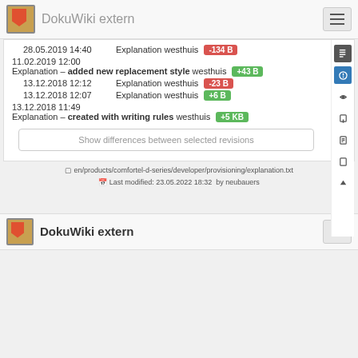DokuWiki extern
28.05.2019 14:40   Explanation westhuis  -134 B
11.02.2019 12:00   Explanation – added new replacement style westhuis  +43 B
13.12.2018 12:12   Explanation westhuis  -23 B
13.12.2018 12:07   Explanation westhuis  +6 B
13.12.2018 11:49   Explanation – created with writing rules westhuis  +5 KB
Show differences between selected revisions
en/products/comfortel-d-series/developer/provisioning/explanation.txt
Last modified: 23.05.2022 18:32  by neubauers
DokuWiki extern